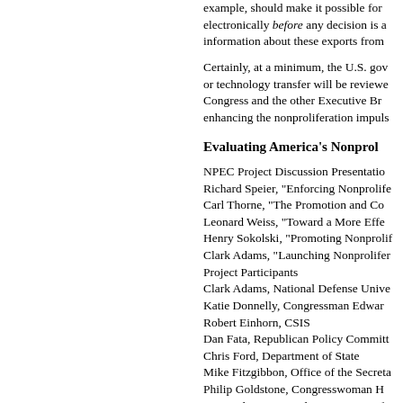example, should make it possible for electronically before any decision is a information about these exports from
Certainly, at a minimum, the U.S. gov or technology transfer will be reviewe Congress and the other Executive Br enhancing the nonproliferation impuls
Evaluating America's Nonprol
NPEC Project Discussion Presentatio Richard Speier, "Enforcing Nonprolife Carl Thorne, "The Promotion and Co Leonard Weiss, "Toward a More Effe Henry Sokolski, "Promoting Nonprolif Clark Adams, "Launching Nonprolifer Project Participants Clark Adams, National Defense Unive Katie Donnelly, Congressman Edwar Robert Einhorn, CSIS Dan Fata, Republican Policy Committ Chris Ford, Department of State Mike Fitzgibbon, Office of the Secreta Philip Goldstone, Congresswoman H Mary-Alice Hayward, Department of E Ed Levine, Senate Foreign Relations Robert Manning, State Policy Plannin Richard Mereu, House International R Thomas Moore, Senate Foreign Rela Guy Roberts, Office of the Secretary Doug Seay, House International Rel